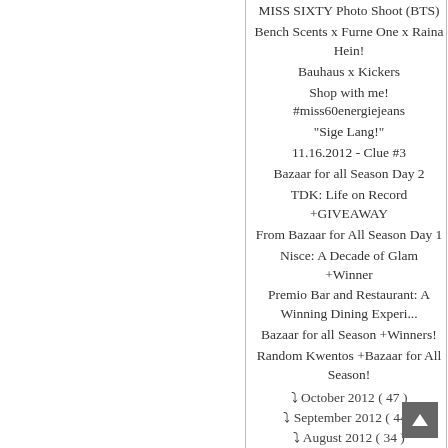MISS SIXTY Photo Shoot (BTS)
Bench Scents x Furne One x Raina Hein!
Bauhaus x Kickers
Shop with me! #miss60energiejeans
"Sige Lang!"
11.16.2012 - Clue #3
Bazaar for all Season Day 2
TDK: Life on Record +GIVEAWAY
From Bazaar for All Season Day 1
Nisce: A Decade of Glam +Winner
Premio Bar and Restaurant: A Winning Dining Experi...
Bazaar for all Season +Winners!
Random Kwentos +Bazaar for All Season!
▾ October 2012 ( 47 )
▾ September 2012 ( 44 )
▾ August 2012 ( 34 )
▾ July 2012 ( 48 )